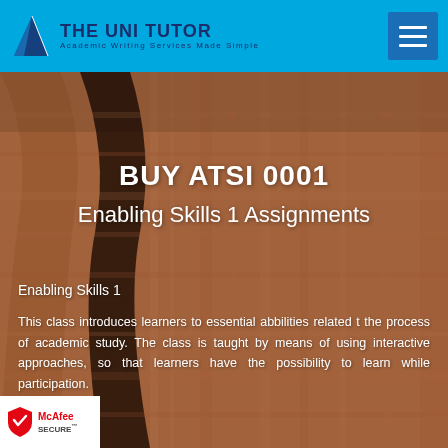THE UNI TUTOR — Academic Writing Services Made Simple
BUY ATSI 0001
Enabling Skills 1 Assignments
Enabling Skills 1
This class introduces learners to essential abbilities related t the process of academic study. The class is taught by means of using interactive approaches, so that learners have the possibility to learn while participation.
[Figure (logo): McAfee SECURE badge at bottom left]